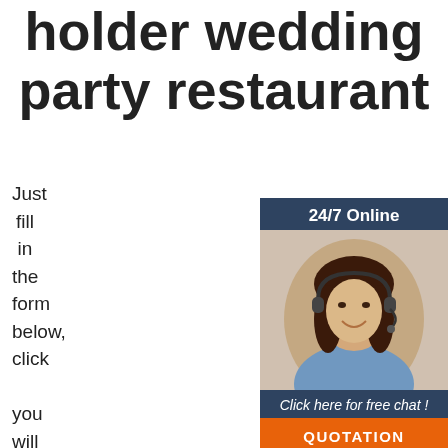holder wedding party restaurant
Just fill in the form below, click submit, you will get the price list, and we will contact you within one working day. Please also feel free to contact us via email or phone. (* is required)
[Figure (infographic): 24/7 Online customer support widget with woman wearing headset, 'Click here for free chat!' text, and orange QUOTATION button]
* Name:
* Email:
Please Enter Other Contact Information
Whatsapp  Wechat  Skype  (radio buttons)